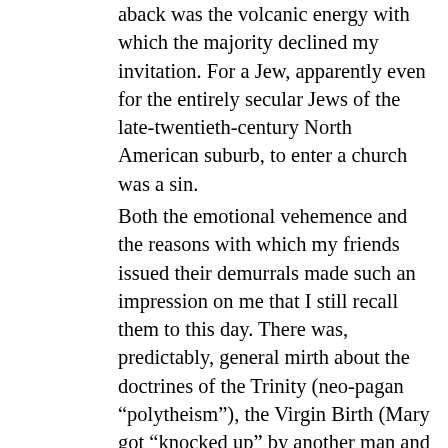aback was the volcanic energy with which the majority declined my invitation. For a Jew, apparently even for the entirely secular Jews of the late-twentieth-century North American suburb, to enter a church was a sin.
Both the emotional vehemence and the reasons with which my friends issued their demurrals made such an impression on me that I still recall them to this day. There was, predictably, general mirth about the doctrines of the Trinity (neo-pagan “polytheism”), the Virgin Birth (Mary got “knocked up” by another man and concocted a fantastic story to explain her embarrassing condition to her husband), and the Resurrection (Jesus’ followers stole the body from the tomb). (Such imaginative essays in de-mythologizing impress me even more today than they did at